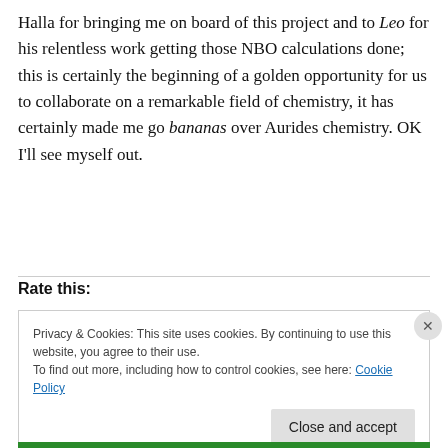Halla for bringing me on board of this project and to Leo for his relentless work getting those NBO calculations done; this is certainly the beginning of a golden opportunity for us to collaborate on a remarkable field of chemistry, it has certainly made me go bananas over Aurides chemistry. OK I'll see myself out.
Rate this:
Privacy & Cookies: This site uses cookies. By continuing to use this website, you agree to their use. To find out more, including how to control cookies, see here: Cookie Policy